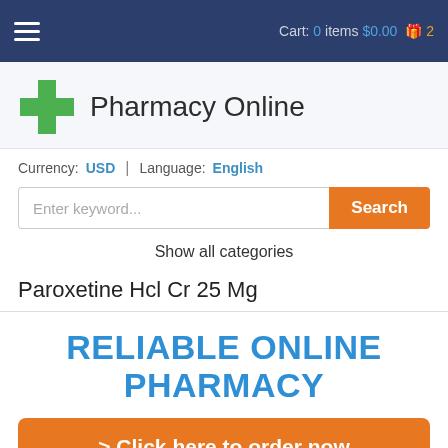Cart: 0 items $0.00 2
[Figure (logo): Green pharmacy cross logo with text 'Pharmacy Online']
Currency: USD | Language: English
Enter keyword...
Show all categories
Paroxetine Hcl Cr 25 Mg
RELIABLE ONLINE PHARMACY
> Click here to order now